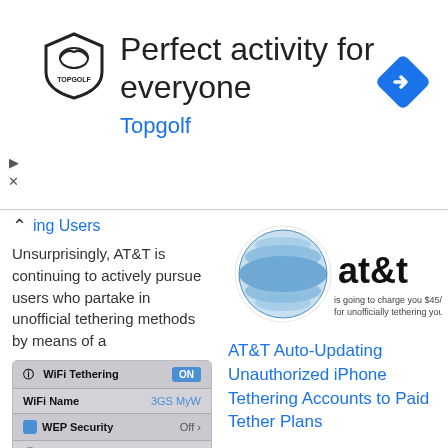[Figure (screenshot): Topgolf advertisement banner with logo, headline 'Perfect activity for everyone', brand name 'Topgolf', and a blue navigation diamond icon]
ing Users
Unsurprisingly, AT&T is continuing to actively pursue users who partake in unofficial tethering methods by means of a
[Figure (screenshot): AT&T globe logo with 'at&t' text and text 'is going to charge you $45/m for unofficially tethering your i']
AT&T Auto-Updating Unauthorized iPhone Tethering Accounts to Paid Tether Plans
[Figure (screenshot): iPhone WiFi Tethering settings screen showing WiFi Tethering ON, WiFi Name 3GS MyW, WEP Security Off, Advanced WiFi]
Turn an iPhone into a WiFi Hotspot with MyWi & a